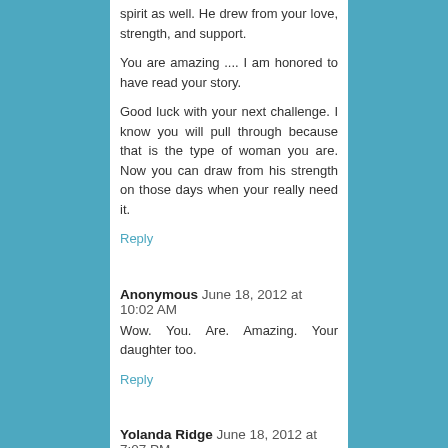spirit as well. He drew from your love, strength, and support.
You are amazing .... I am honored to have read your story.
Good luck with your next challenge. I know you will pull through because that is the type of woman you are. Now you can draw from his strength on those days when your really need it.
Reply
Anonymous  June 18, 2012 at 10:02 AM
Wow. You. Are. Amazing. Your daughter too.
Reply
Yolanda Ridge  June 18, 2012 at 7:07 PM
Thank you for sharing your story. I spent 6